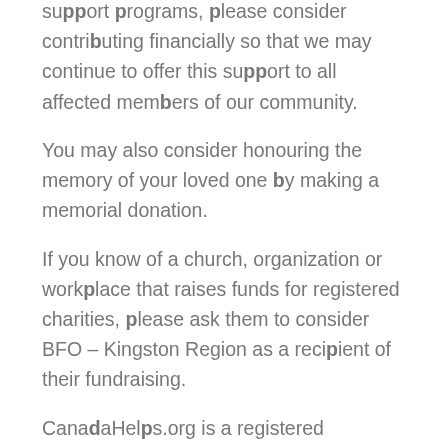support programs, please consider contributing financially so that we may continue to offer this support to all affected members of our community.
You may also consider honouring the memory of your loved one by making a memorial donation.
If you know of a church, organization or workplace that raises funds for registered charities, please ask them to consider BFO – Kingston Region as a recipient of their fundraising.
CanadaHelps.org is a registered Canadian